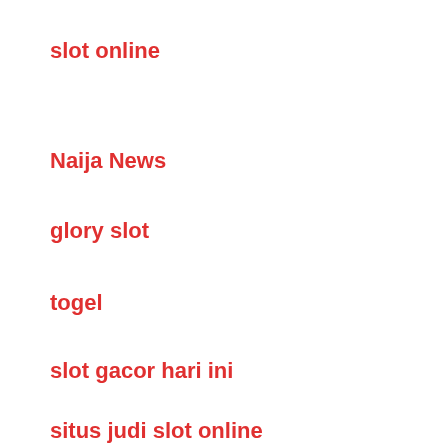slot online
Naija News
glory slot
togel
slot gacor hari ini
situs judi slot online